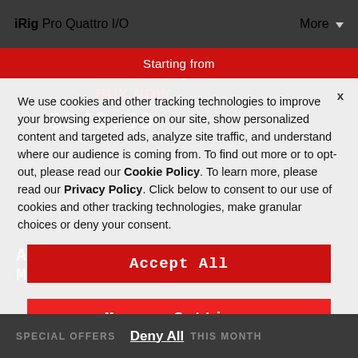iRig Pro Quattro I/O    More
Starting from
We use cookies and other tracking technologies to improve your browsing experience on our site, show personalized content and targeted ads, analyze site traffic, and understand where our audience is coming from. To find out more or to opt-out, please read our Cookie Policy. To learn more, please read our Privacy Policy. Click below to consent to our use of cookies and other tracking technologies, make granular choices or deny your consent.
Accept All
Manage Settings
AS A MOBILE/                                    ACE
SPECIAL OFFERS    Deny All    THIS MONTH